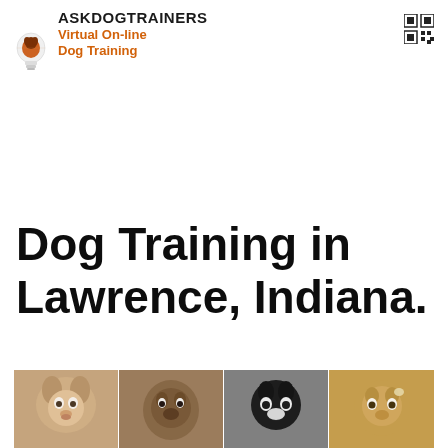[Figure (logo): AskDogTrainers logo with lightbulb icon showing a dog silhouette inside, with text ASKDOGTRAINERS in black bold, Virtual On-line Dog Training in orange bold]
[Figure (other): QR code icon (grid of squares) in top right corner]
Dog Training in Lawrence, Indiana.
[Figure (photo): A strip of four dog photos side by side: a Corgi, a Pug, a Border Collie, and a Golden Retriever]